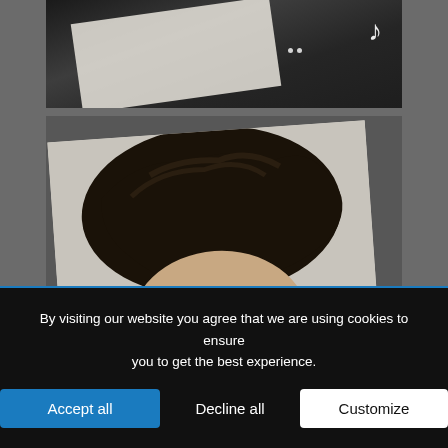[Figure (photo): Top portion of a webpage showing a black and white photograph of what appears to be a dark textured surface with a music note decoration, displayed in a web browser.]
[Figure (photo): Lower portion showing a photograph of a young man with dark, styled hair, displayed as a photo card on dark background. Only the top of his head and hair is visible.]
In order to provide you with the best online experience this website uses cookies. By using our website, you agree to our use of cookies.
By visiting our website you agree that we are using cookies to ensure you to get the best experience.